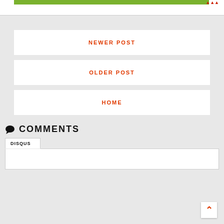[Figure (screenshot): Top banner with green strip and partial text visible on right side]
NEWER POST
OLDER POST
HOME
COMMENTS
DISQUS